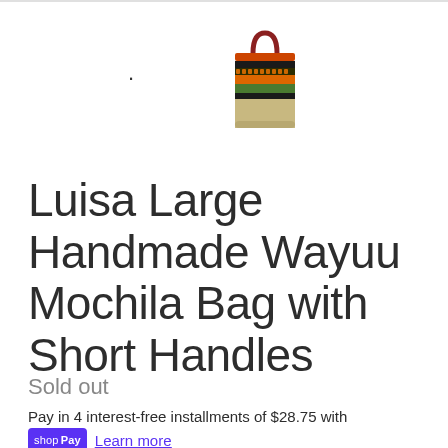[Figure (photo): Small product thumbnail of a colorful handmade Wayuu mochila bag with short handles, featuring orange, green, black and red stripes with a dark red handle]
Luisa Large Handmade Wayuu Mochila Bag with Short Handles
Sold out
Pay in 4 interest-free installments of $28.75 with
shop Pay  Learn more